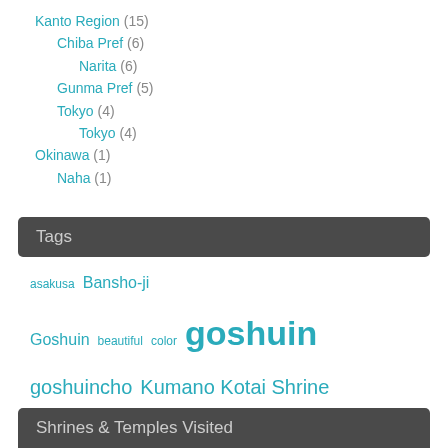Kanto Region (15)
Chiba Pref (6)
Narita (6)
Gunma Pref (5)
Tokyo (4)
Tokyo (4)
Okinawa (1)
Naha (1)
Tags
asakusa Bansho-ji Goshuin beautiful color goshuin goshuincho Kumano Kotai Shrine Karuizawa Senso-ji shrine temple yatagarasu
Shrines & Temples Visited